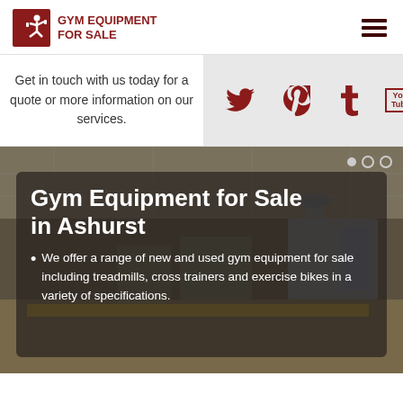[Figure (logo): Gym Equipment For Sale logo — dark red square icon with stylized person lifting weight, next to bold dark red text 'GYM EQUIPMENT FOR SALE']
[Figure (infographic): Three horizontal dark red lines forming a hamburger/menu icon on the right side of the header]
Get in touch with us today for a quote or more information on our services.
[Figure (infographic): Social media icons: Twitter bird, Pinterest P, Tumblr t, YouTube box — all in dark red on a light grey background]
[Figure (photo): Photo of a large gym interior with exercise bikes, treadmills and weight machines on a yellow and grey floor. Overlaid with a semi-transparent dark box containing the headline 'Gym Equipment for Sale in Ashurst' and a bullet point description.]
Gym Equipment for Sale in Ashurst
We offer a range of new and used gym equipment for sale including treadmills, cross trainers and exercise bikes in a variety of specifications.